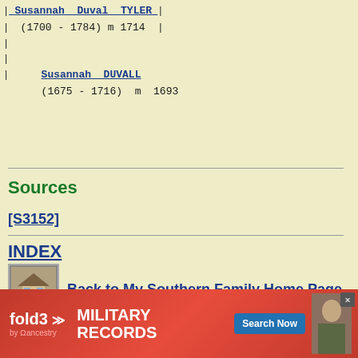Susannah Duval TYLER (1700 - 1784) m 1714
Susannah DUVALL (1675 - 1716) m 1693
Sources
[S3152]
INDEX
Back to My Southern Family Home Page
EMAIL
© 1995,
[Figure (screenshot): fold3 by Ancestry advertisement banner: MILITARY RECORDS with Search Now button and soldier photo]